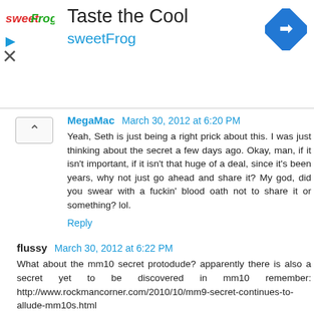[Figure (screenshot): Advertisement banner for sweetFrog with logo, 'Taste the Cool' heading, colored arrow navigation icon]
MegaMac  March 30, 2012 at 6:20 PM
Yeah, Seth is just being a right prick about this. I was just thinking about the secret a few days ago. Okay, man, if it isn't important, if it isn't that huge of a deal, since it's been years, why not just go ahead and share it? My god, did you swear with a fuckin' blood oath not to share it or something? lol.
Reply
flussy  March 30, 2012 at 6:22 PM
What about the mm10 secret protodude? apparently there is also a secret yet to be discovered in mm10 remember: http://www.rockmancorner.com/2010/10/mm9-secret-continues-to-allude-mm10s.html
Reply